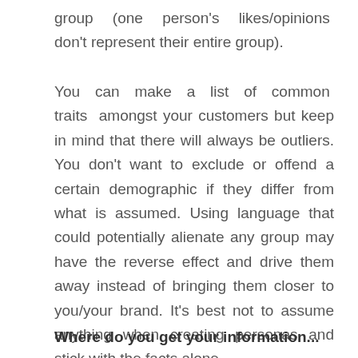group (one person's likes/opinions don't represent their entire group).
You can make a list of common traits amongst your customers but keep in mind that there will always be outliers. You don't want to exclude or offend a certain demographic if they differ from what is assumed. Using language that could potentially alienate any group may have the reverse effect and drive them away instead of bringing them closer to you/your brand. It's best not to assume anything when creating personas and stick with the facts alone.
Where do you get your information...